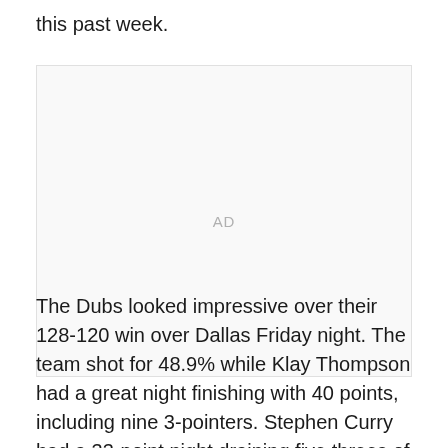this past week.
[Figure (other): Advertisement placeholder box with 'AD' label centered]
The Dubs looked impressive over their 128-120 win over Dallas Friday night. The team shot for 48.9% while Klay Thompson had a great night finishing with 40 points, including nine 3-pointers. Stephen Curry had a 33-point night draining five threes of his own.